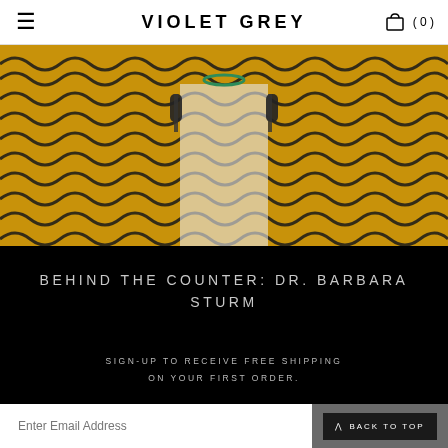VIOLET GREY
[Figure (photo): Close-up photo of a person wearing a bright yellow/golden jacket with black wavy pattern lines and black toggle closures, with a white shirt underneath and a green necklace visible at the neckline.]
BEHIND THE COUNTER: DR. BARBARA STURM
SIGN-UP TO RECEIVE FREE SHIPPING ON YOUR FIRST ORDER.
Enter Email Address
BACK TO TOP